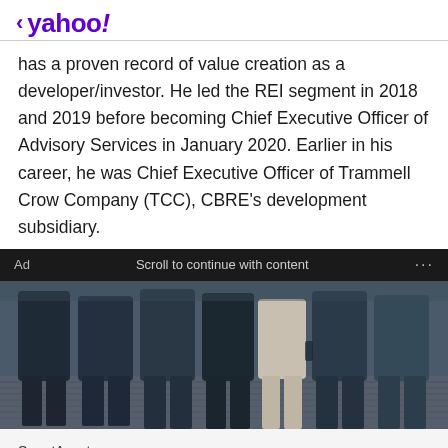< yahoo!
has a proven record of value creation as a developer/investor. He led the REI segment in 2018 and 2019 before becoming Chief Executive Officer of Advisory Services in January 2020. Earlier in his career, he was Chief Executive Officer of Trammell Crow Company (TCC), CBRE’s development subsidiary.
Ad   Scroll to continue with content   ...
[Figure (photo): Group of people standing together, cropped to show torsos and legs on a cobblestone surface]
SmartAsset
Ashburn: Startup Is Changing the Way People